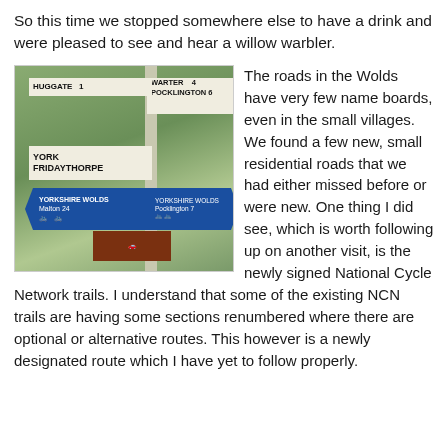So this time we stopped somewhere else to have a drink and were pleased to see and hear a willow warbler.
[Figure (photo): A road signpost cluster showing white finger signs for HUGGATE 1, WARTER 4, POCKLINGTON 6, YORK FRIDAYTHORPE; two blue Yorkshire Wolds cycle route signs (Malton 24, and another direction); and a brown tourist sign, set against a leafy green background.]
The roads in the Wolds have very few name boards, even in the small villages. We found a few new, small residential roads that we had either missed before or were new. One thing I did see, which is worth following up on another visit, is the newly signed National Cycle Network trails. I understand that some of the existing NCN trails are having some sections renumbered where there are optional or alternative routes. This however is a newly designated route which I have yet to follow properly.